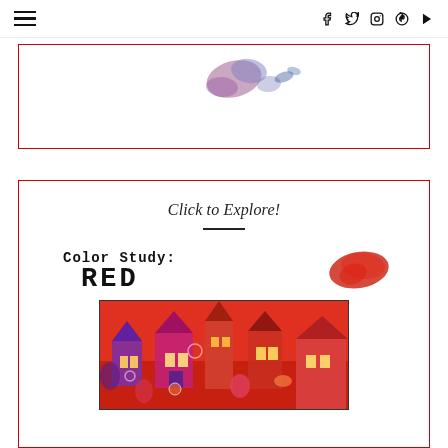≡  f  t  ☷  ⊕  ▶
[Figure (illustration): Partially visible card with red border showing top of an illustration with purple/blue watercolor elements on white background]
[Figure (illustration): Card with red border containing 'Click to Explore!' italic text, a horizontal divider, 'Color Study: RED' title with a red watercolor paint splat, and a colorful artwork image of houses in red/orange tones]
Click to Explore!
Color Study:
RED